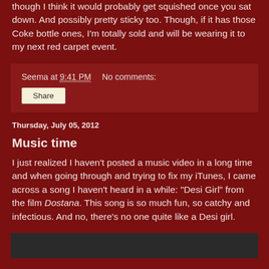though I think it would probably get squished once you sat down. And possibly pretty sticky too. Though, if it has those Coke bottle ones, I'm totally sold and will be wearing it to my next red carpet event.
Seema at 9:41 PM   No comments:
Share
Thursday, July 05, 2012
Music time
I just realized I haven't posted a music video in a long time and when going through and trying to fix my iTunes, I came across a song I haven't heard in a while: "Desi Girl" from the film Dostana. This song is so much fun, so catchy and infectious. And no, there's no one quite like a Desi girl.
[Figure (screenshot): Embedded video player, dark background]